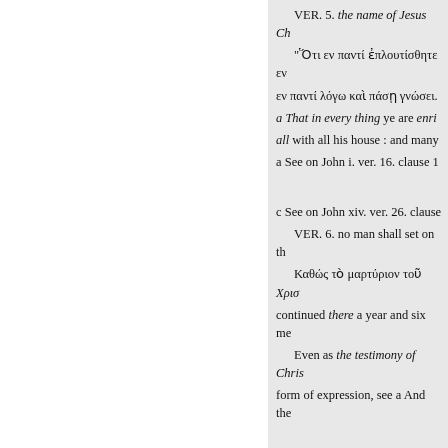VER. 5. the name of Jesus Ch
"Ὅτι εν παντί ἐπλουτίσθητε εν
εν παντί λόγω καὶ πάσῃ γνώσει.
a That in every thing ye are enri
all with all his house : and many
a See on John i. ver. 16. clause 1
c See on John xiv. ver. 26. clause
VER. 6. no man shall set on th
Καθώς τὸ μαρτύριον τοῦ Χρισ
continued there a year and six me
Even as the testimony of Chris
form of expression, see a And the
153068
« Previous